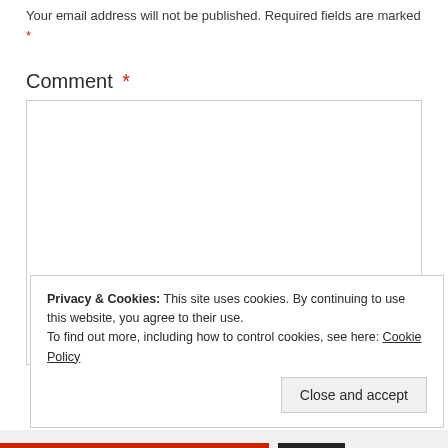Your email address will not be published. Required fields are marked *
Comment *
[Figure (other): Empty comment text area input box with resize handle]
Privacy & Cookies: This site uses cookies. By continuing to use this website, you agree to their use.
To find out more, including how to control cookies, see here: Cookie Policy
Close and accept